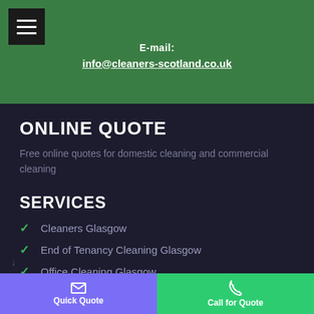[Figure (screenshot): Green header section with hamburger menu button (three horizontal white lines on black background) in top-left, email label and link centered]
E-mail:
info@cleaners-scotland.co.uk
ONLINE QUOTE
Free online quotes for domestic cleaning and commercial cleaning
SERVICES
Cleaners Glasgow
End of Tenancy Cleaning Glasgow
Office Cleaning Glasgow
Quick Quote
Call for Quote